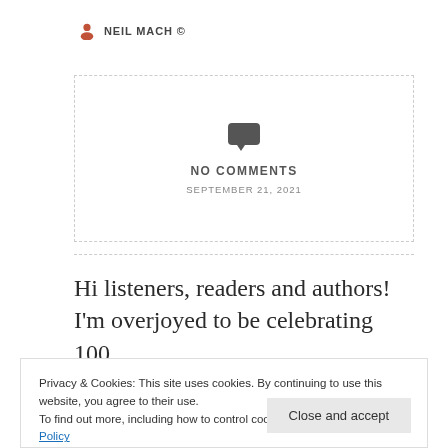NEIL MACH ©
[Figure (other): Dashed border box with speech bubble icon showing NO COMMENTS and date SEPTEMBER 21, 2021]
Hi listeners, readers and authors! I'm overjoyed to be celebrating 100
Privacy & Cookies: This site uses cookies. By continuing to use this website, you agree to their use.
To find out more, including how to control cookies, see here: Cookie Policy
hooray! Don't forget, the show goes